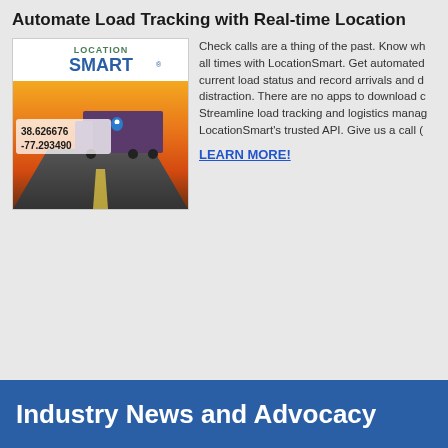Automate Load Tracking with Real-time Location
[Figure (photo): LocationSmart advertisement image showing a truck on a highway at sunset with GPS coordinates 38.626676, -77.293490 displayed and a location pin icon. The LocationSmart logo appears at the top of the image.]
Check calls are a thing of the past. Know wh all times with LocationSmart. Get automated current load status and record arrivals and d distraction. There are no apps to download c Streamline load tracking and logistics manag LocationSmart's trusted API. Give us a call (
LEARN MORE!
Industry News and Advocacy